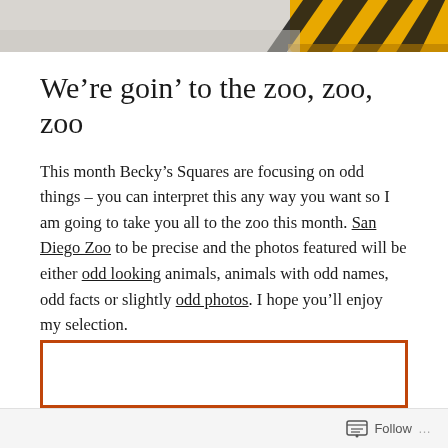[Figure (photo): Top portion of a photo showing what appears to be a tiger-striped yellow and black cushion or surface on a light grey/white floor background, partially cropped at the top of the page.]
We’re goin’ to the zoo, zoo, zoo
This month Becky’s Squares are focusing on odd things – you can interpret this any way you want so I am going to take you all to the zoo this month. San Diego Zoo to be precise and the photos featured will be either odd looking animals, animals with odd names, odd facts or slightly odd photos. I hope you’ll enjoy my selection.
Day 20
[Figure (other): An orange-bordered rectangle (empty content area / embedded media frame), partially visible at the bottom of the page.]
Follow